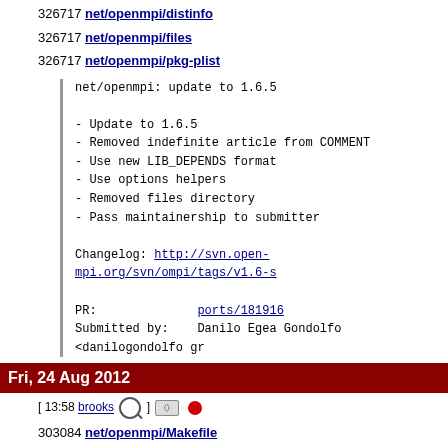326717 net/openmpi/distinfo
326717 net/openmpi/files
326717 net/openmpi/pkg-plist
net/openmpi: update to 1.6.5

- Update to 1.6.5
- Removed indefinite article from COMMENT
- Use new LIB_DEPENDS format
- Use options helpers
- Removed files directory
- Pass maintainership to submitter

Changelog: http://svn.open-mpi.org/svn/ompi/tags/v1.6-s

PR:             ports/181916
Submitted by:   Danilo Egea Gondolfo <danilogondolfo gr
Fri, 24 Aug 2012
[ 13:58 brooks ]
303084 net/openmpi/Makefile
303084 net/openmpi/Makefile.man
303084 net/openmpi/distinfo
303084 net/openmpi/pkg-plist
Upgrade to 1.6.1. [0]
Allow IPV6 support to be disabled. [1]